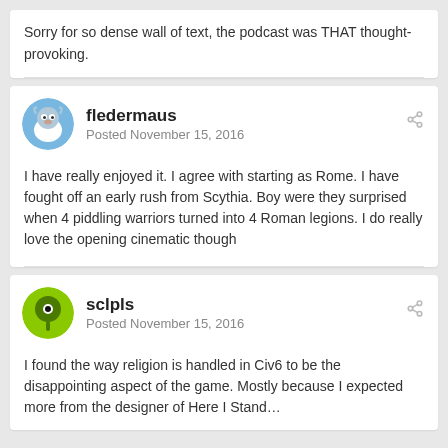Sorry for so dense wall of text, the podcast was THAT thought-provoking.
fledermaus
Posted November 15, 2016
I have really enjoyed it.  I agree with starting as Rome.  I have fought off an early rush from Scythia.  Boy were they surprised when 4 piddling warriors turned into 4 Roman legions.  I do really love the opening cinematic though
sclpls
Posted November 15, 2016
I found the way religion is handled in Civ6 to be the disappointing aspect of the game. Mostly because I expected more from the designer of Here I Stand…